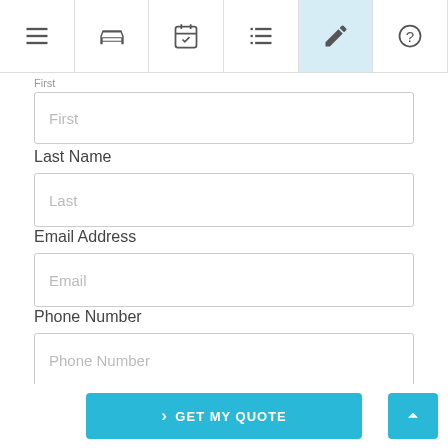[Figure (screenshot): Mobile app navigation bar with 6 icon tabs: hamburger menu, bed/hotel, calendar/checklist, list, edit/pencil (active, highlighted in light blue), and help/question mark]
First
Last Name
Last
Email Address
Email
Phone Number
Phone Number
Comments/Questions
> GET MY QUOTE